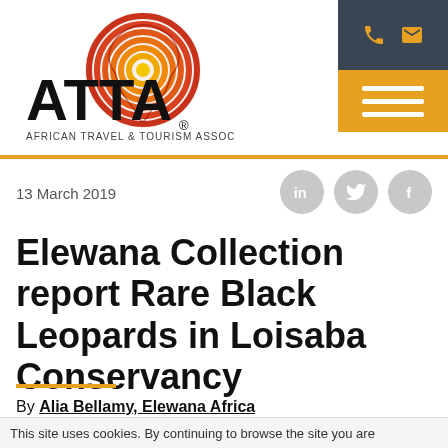[Figure (logo): ATTA African Travel & Tourism Association logo with Africa map graphic in red/orange/yellow concentric arcs]
[Figure (infographic): Dark grey top-right navigation bar with phone and email icons in gold, and an orange hamburger menu button below it]
13 March 2019
[Figure (infographic): Three grey circular social media icons: LinkedIn (in), Twitter bird, Facebook (f)]
Elewana Collection report Rare Black Leopards in Loisaba Conservancy
By Alia Bellamy, Elewana Africa
This site uses cookies. By continuing to browse the site you are